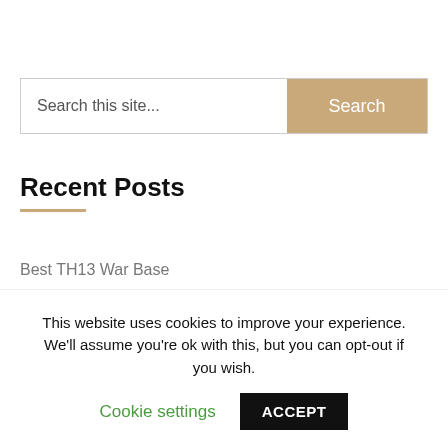Search this site...
Recent Posts
Best TH13 War Base
Best TH13 Farming Base
TH12 Hybrid Base Latest Anti Air & Ground
This website uses cookies to improve your experience. We'll assume you're ok with this, but you can opt-out if you wish.
Cookie settings   ACCEPT